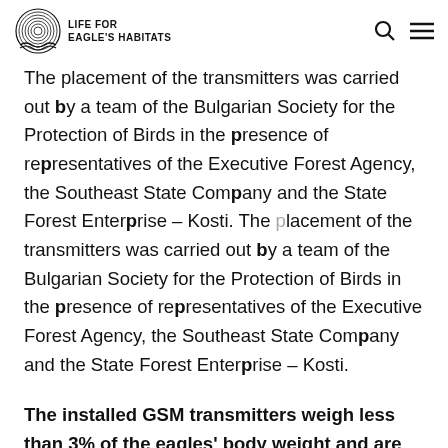LIFE FOR EAGLE'S HABITATS
The placement of the transmitters was carried out by a team of the Bulgarian Society for the Protection of Birds in the presence of representatives of the Executive Forest Agency, the Southeast State Company and the State Forest Enterprise – Kosti.
The installed GSM transmitters weigh less than 3% of the eagles' body weight and are attached to the birds by means of Teflon straps. The transmitter is attached loosely so as not to cause inconvenience to the bird, but at the same time to ensure that it will not fall off or be